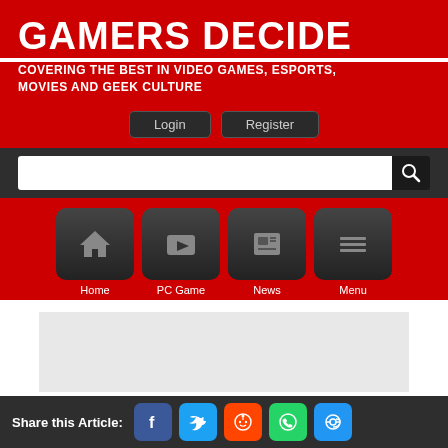GAMERS DECIDE
COVERING THE BEST IN VIDEO GAMES, ESPORTS, MOVIES AND GEEK CULTURE
[Figure (screenshot): Login and Register buttons]
[Figure (screenshot): Search bar with search icon]
[Figure (screenshot): Navigation bar with Home, PC Game, News, Menu icon buttons]
[Figure (screenshot): Gray advertisement placeholder rectangle]
PS5 Price Leak Fact Check: Real or Fake?
Share this Article: